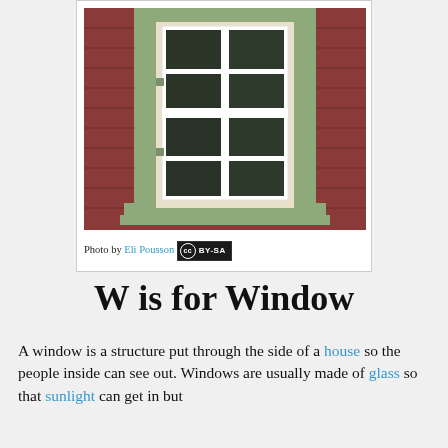[Figure (photo): A wooden house exterior with a green-painted window frame and white sash window with multiple panes, set against red wooden shingle siding.]
Photo by Eli Pousson
W is for Window
A window is a structure put through the side of a house so the people inside can see out. Windows are usually made of glass so that sunlight can get in but